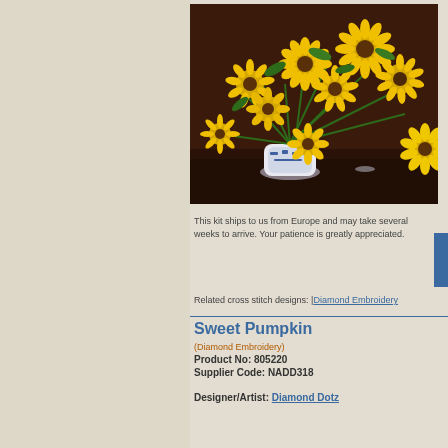[Figure (photo): A cross stitch / diamond embroidery artwork showing sunflowers in a blue and white vase on a dark background]
This kit ships to us from Europe and may take several weeks to arrive. Your patience is greatly appreciated.
Related cross stitch designs: | Diamond Embroidery
Sweet Pumpkin
(Diamond Embroidery)
Product No: 805220
Supplier Code: NADD318
Designer/Artist: Diamond Dotz